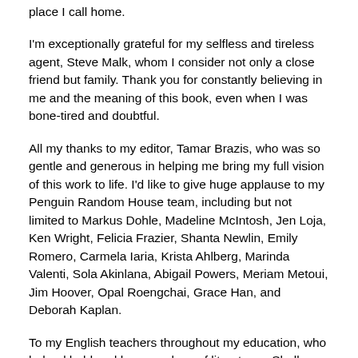place I call home.
I'm exceptionally grateful for my selfless and tireless agent, Steve Malk, whom I consider not only a close friend but family. Thank you for constantly believing in me and the meaning of this book, even when I was bone-tired and doubtful.
All my thanks to my editor, Tamar Brazis, who was so gentle and generous in helping me bring my full vision of this work to life. I'd like to give huge applause to my Penguin Random House team, including but not limited to Markus Dohle, Madeline McIntosh, Jen Loja, Ken Wright, Felicia Frazier, Shanta Newlin, Emily Romero, Carmela Iaria, Krista Ahlberg, Marinda Valenti, Sola Akinlana, Abigail Powers, Meriam Metoui, Jim Hoover, Opal Roengchai, Grace Han, and Deborah Kaplan.
To my English teachers throughout my education, who helped hold and hone my love of literature—Shelly Fredman (who first made me realize I wanted to be a writer), Alexandra Padilla and Sara Hammerman (who